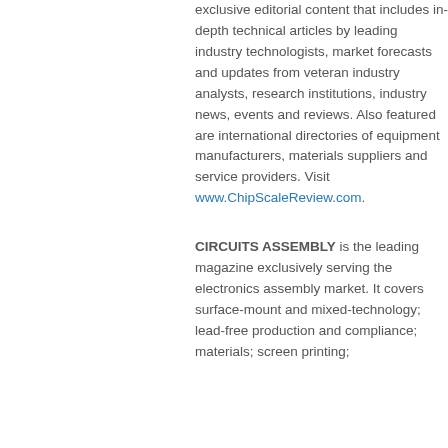exclusive editorial content that includes in-depth technical articles by leading industry technologists, market forecasts and updates from veteran industry analysts, research institutions, industry news, events and reviews. Also featured are international directories of equipment manufacturers, materials suppliers and service providers. Visit www.ChipScaleReview.com.
CIRCUITS ASSEMBLY is the leading magazine exclusively serving the electronics assembly market. It covers surface-mount and mixed-technology; lead-free production and compliance; materials; screen printing;